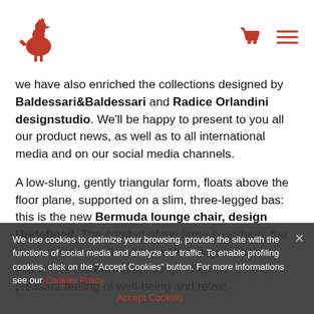[Figure (logo): Red rooster/cockerel logo icon on white background]
[Figure (other): Red shopping cart icon and red hamburger menu icon in top right header]
we have also enriched the collections designed by Baldessari&Baldessari and Radice Orlandini designstudio. We'll be happy to present to you all our product news, as well as to all international media and on our social media channels.
A low-slung, gently triangular form, floats above the floor plane, supported on a slim, three-legged bas: this is the new Bermuda lounge chair, design Undefined. The comfort of the large h cushion, the low scooped sides and the soft, triangular back cushion of the Bermuda lounge chair will offer a pleasant feeling of well-being and relax!
We use cookies to optimize your browsing, provide the site with the functions of social media and analyze our traffic. To enable profiling cookies, click on the "Accept Cookies" button. For more informations see our Cookies Policy